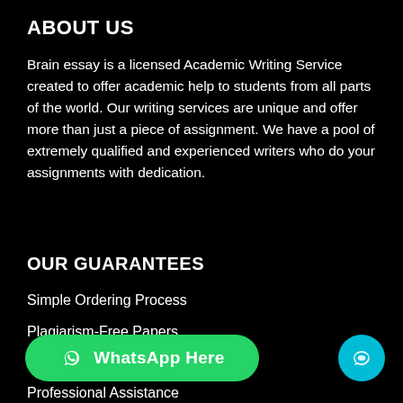ABOUT US
Brain essay is a licensed Academic Writing Service created to offer academic help to students from all parts of the world. Our writing services are unique and offer more than just a piece of assignment. We have a pool of extremely qualified and experienced writers who do your assignments with dedication.
OUR GUARANTEES
Simple Ordering Process
Plagiarism-Free Papers
Money-Back Guarantee
Professional Assistance